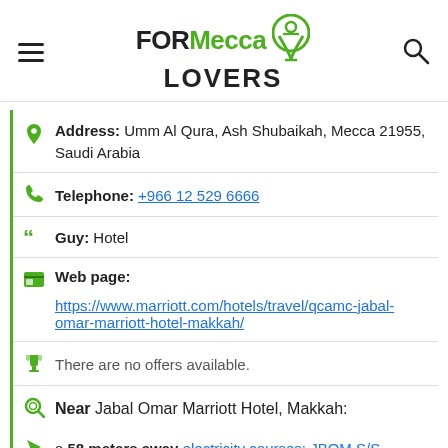FORMeccaLOVERS
Address: Umm Al Qura, Ash Shubaikah, Mecca 21955, Saudi Arabia
Telephone: +966 12 529 6666
Guy: Hotel
Web page:
https://www.marriott.com/hotels/travel/qcamc-jabal-omar-marriott-hotel-makkah/
There are no offers available.
Near Jabal Omar Marriott Hotel, Makkah:
a 58 meters away electricity courses: JBOM S/S
a 62 meters away tourist flats: Al Harazi Residence
a 74 meters away tree pruning: DoubleTree by Hilton